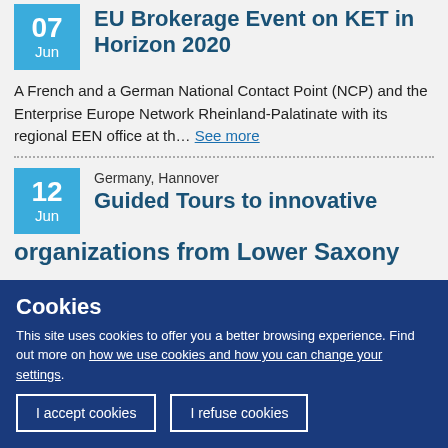EU Brokerage Event on KET in Horizon 2020
A French and a German National Contact Point (NCP) and the Enterprise Europe Network Rheinland-Palatinate with its regional EEN office at th... See more
Guided Tours to innovative organizations from Lower Saxony
Germany, Hannover
Cookies
This site uses cookies to offer you a better browsing experience. Find out more on how we use cookies and how you can change your settings.
I accept cookies
I refuse cookies